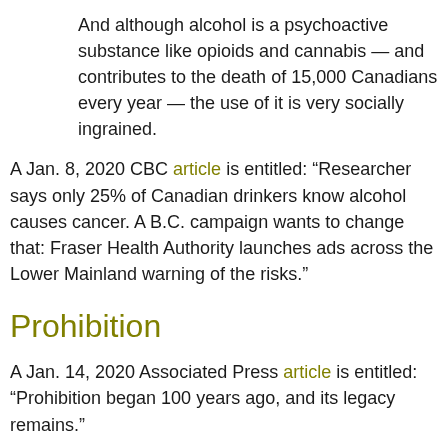And although alcohol is a psychoactive substance like opioids and cannabis — and contributes to the death of 15,000 Canadians every year — the use of it is very socially ingrained.
A Jan. 8, 2020 CBC article is entitled: “Researcher says only 25% of Canadian drinkers know alcohol causes cancer. A B.C. campaign wants to change that: Fraser Health Authority launches ads across the Lower Mainland warning of the risks.”
Prohibition
A Jan. 14, 2020 Associated Press article is entitled: “Prohibition began 100 years ago, and its legacy remains.”
An excerpt reads: